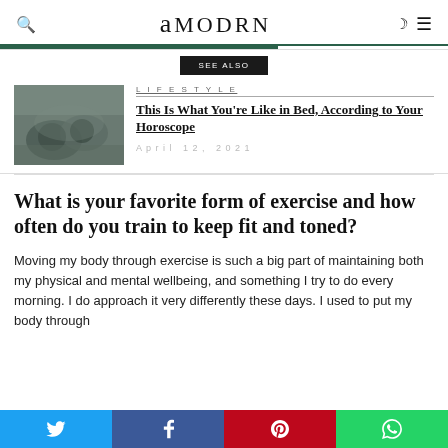amodrn
See also
LIFE STYLE
This Is What You're Like in Bed, According to Your Horoscope
April 12, 2021
[Figure (photo): Two people lying in bed, overhead view, gray tones]
What is your favorite form of exercise and how often do you train to keep fit and toned?
Moving my body through exercise is such a big part of maintaining both my physical and mental wellbeing, and something I try to do every morning. I do approach it very differently these days. I used to put my body through